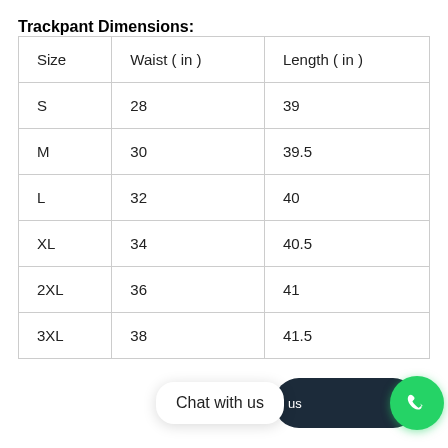Trackpant Dimensions:
| Size | Waist ( in ) | Length ( in ) |
| --- | --- | --- |
| S | 28 | 39 |
| M | 30 | 39.5 |
| L | 32 | 40 |
| XL | 34 | 40.5 |
| 2XL | 36 | 41 |
| 3XL | 38 | 41.5 |